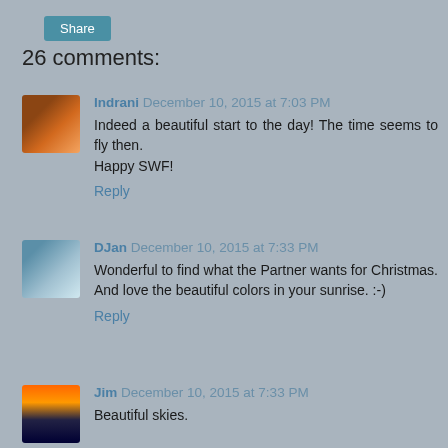Share
26 comments:
Indrani December 10, 2015 at 7:03 PM
Indeed a beautiful start to the day! The time seems to fly then.
Happy SWF!
Reply
DJan December 10, 2015 at 7:33 PM
Wonderful to find what the Partner wants for Christmas. And love the beautiful colors in your sunrise. :-)
Reply
Jim December 10, 2015 at 7:33 PM
Beautiful skies.